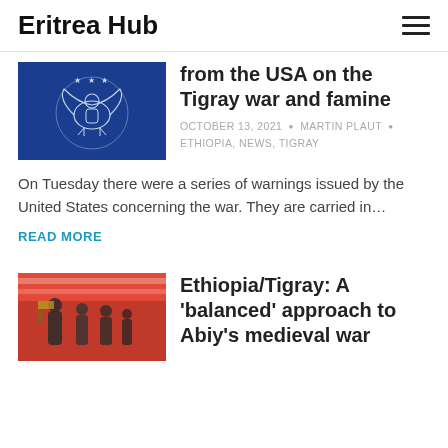Eritrea Hub
[Figure (photo): US Great Seal emblem on blue background]
from the USA on the Tigray war and famine
OCTOBER 13, 2021 • MARTIN PLAUT • ETHIOPIA, NEWS, TIGRAY
On Tuesday there were a series of warnings issued by the United States concerning the war. They are carried in…
READ MORE
[Figure (photo): People gathered under red tent with military figures, Tigray scene]
Ethiopia/Tigray: A 'balanced' approach to Abiy's medieval war